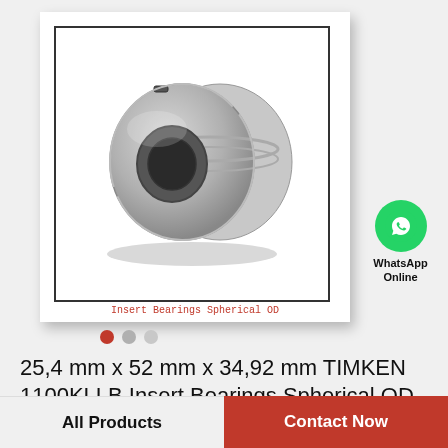[Figure (photo): A steel insert bearing with spherical outer diameter (TIMKEN 1100KLLB), shown from a 3/4 front angle, metallic gray color, with visible inner bore and outer race.]
Insert Bearings Spherical OD
WhatsApp Online
25,4 mm x 52 mm x 34,92 mm TIMKEN 1100KLLB Insert Bearings Spherical OD
All Products
Contact Now